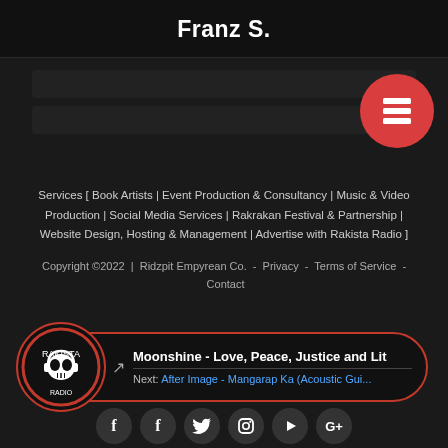Franz S.
[Figure (screenshot): Dark card/banner area with two dark gray content blocks and a red circular button with a grid/database icon on the right]
Services [ Book Artists | Event Production & Consultancy | Music & Video Production | Social Media Services | Rakrakan Festival & Partnership | Website Design, Hosting & Management | Advertise with Rakista Radio ]
Copyright ©2022  |  Ridzpit Empyrean Co.  -  Privacy  -  Terms of Service  -  Contact
[Figure (logo): Rakista Radio player bar with skull logo, showing current track: Moonshine - Love, Peace, Justice and Li... and Next: After Image - Mangarap Ka (Acoustic Gui...)]
[Figure (infographic): Row of social media icon circles at the bottom: two Facebook icons, Twitter, Instagram, YouTube, Google+]